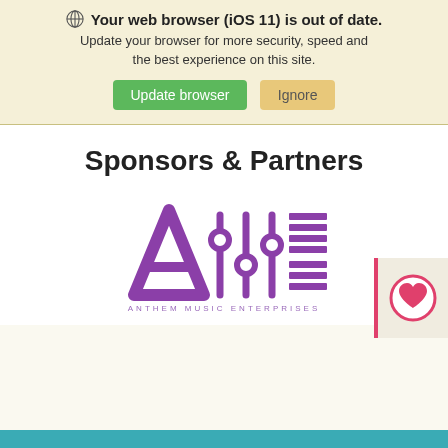Your web browser (iOS 11) is out of date. Update your browser for more security, speed and the best experience on this site. [Update browser] [Ignore]
Sponsors & Partners
[Figure (logo): Anthem Music Enterprises logo — purple stylized letter A with audio mixer fader icons and grid bars, with text ANTHEM MUSIC ENTERPRISES below]
[Figure (illustration): Wishlist widget — vertical pink/red bar with a beige box containing a pink heart circle icon]